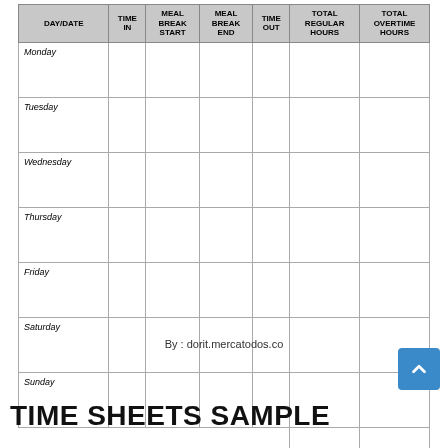| DAY/DATE | TIME IN | MEAL BREAK START | MEAL BREAK END | TIME OUT | TOTAL REGULAR HOURS | TOTAL OVERTIME HOURS |
| --- | --- | --- | --- | --- | --- | --- |
| Monday |  |  |  |  |  |  |
| Tuesday |  |  |  |  |  |  |
| Wednesday |  |  |  |  |  |  |
| Thursday |  |  |  |  |  |  |
| Friday |  |  |  |  |  |  |
| Saturday |  |  |  |  |  |  |
| Sunday |  |  |  |  |  |  |
| Weekly Total |  |  |  |  |  |  |
By : dorit.mercatodos.co
TIME SHEETS SAMPLE